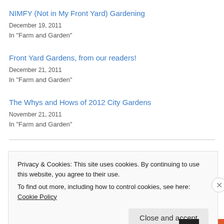NIMFY (Not in My Front Yard) Gardening
December 19, 2011
In "Farm and Garden"
Front Yard Gardens, from our readers!
December 21, 2011
In "Farm and Garden"
The Whys and Hows of 2012 City Gardens
November 21, 2011
In "Farm and Garden"
January 16, 2012
2 Replies
Privacy & Cookies: This site uses cookies. By continuing to use this website, you agree to their use.
To find out more, including how to control cookies, see here: Cookie Policy
Close and accept